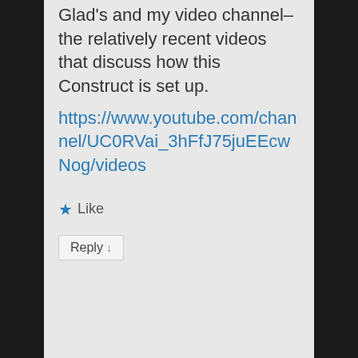Glad's and my video channel–the relatively recent videos that discuss how this Construct is set up.
https://www.youtube.com/channel/UC0RVai_3hFfJ75juEEcwNog/videos
★ Like
Reply ↓